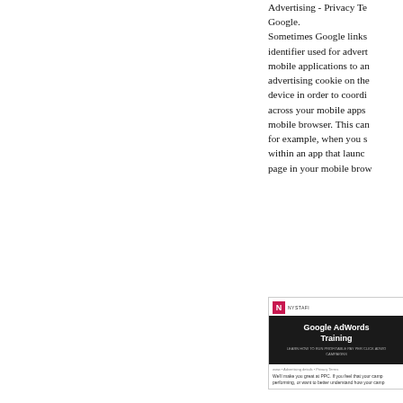Advertising - Privacy Te... Google. Sometimes Google links identifier used for advert... mobile applications to an... advertising cookie on the... device in order to coordi... across your mobile apps ... mobile browser. This can... for example, when you s... within an app that launc... page in your mobile bro...
[Figure (screenshot): Screenshot of a Nystafi Google AdWords Training promotional page, showing logo, dark banner with title 'Google AdWords Training', subtitle text, and body text about PPC.]